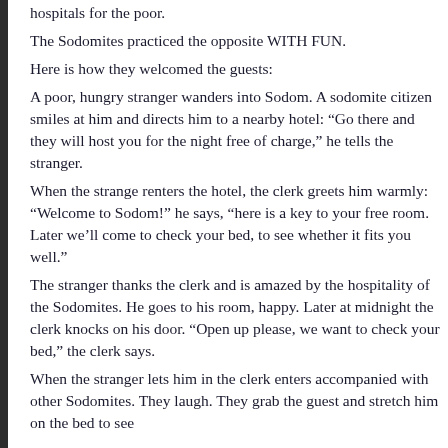hospitals for the poor.
The Sodomites practiced the opposite WITH FUN.
Here is how they welcomed the guests:
A poor, hungry stranger wanders into Sodom. A sodomite citizen smiles at him and directs him to a nearby hotel: “Go there and they will host you for the night free of charge,” he tells the stranger.
When the strange renters the hotel, the clerk greets him warmly: “Welcome to Sodom!” he says, “here is a key to your free room. Later we’ll come to check your bed, to see whether it fits you well.”
The stranger thanks the clerk and is amazed by the hospitality of the Sodomites. He goes to his room, happy. Later at midnight the clerk knocks on his door. “Open up please, we want to check your bed,” the clerk says.
When the stranger lets him in the clerk enters accompanied with other Sodomites. They laugh. They grab the guest and stretch him on the bed to see